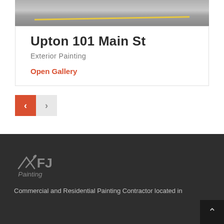[Figure (photo): Road surface with yellow line, partial view at top of page]
Upton 101 Main St
Exterior Painting
Open Gallery
[Figure (other): Navigation buttons: left arrow (red/active) and right arrow (grey)]
[Figure (logo): FJ Painting logo with paint brush graphic, grey on dark background]
Commercial and Residential Painting Contractor located in